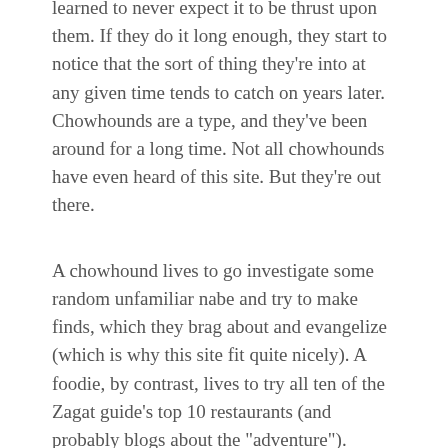service, but they're not hypnotized by it. They're trying to find treasure, and have learned to never expect it to be thrust upon them. If they do it long enough, they start to notice that the sort of thing they're into at any given time tends to catch on years later. Chowhounds are a type, and they've been around for a long time. Not all chowhounds have even heard of this site. But they're out there.
A chowhound lives to go investigate some random unfamiliar nabe and try to make finds, which they brag about and evangelize (which is why this site fit quite nicely). A foodie, by contrast, lives to try all ten of the Zagat guide's top 10 restaurants (and probably blogs about the "adventure").
To me, it's a pretty clear distinction. And I find that most of the people who fail to grok it are foodies, who naturally feel less than flattered when the mirror's held up. What makes me happier than anything is when foodies (or even non-food lovers) get a whiff of the chowhound (not necessarily Chowhound) spirit and discover their true calling. This web site is the most effective engine I could think of to achieve